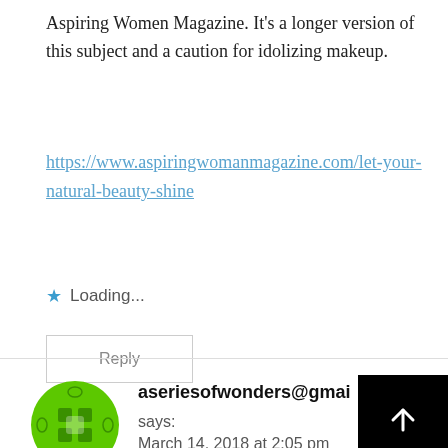Aspiring Women Magazine. It's a longer version of this subject and a caution for idolizing makeup.
https://www.aspiringwomanmagazine.com/let-your-natural-beauty-shine
★ Loading...
Reply
aseriesofwonders@gmai
says:
March 14, 2018 at 2:05 pm